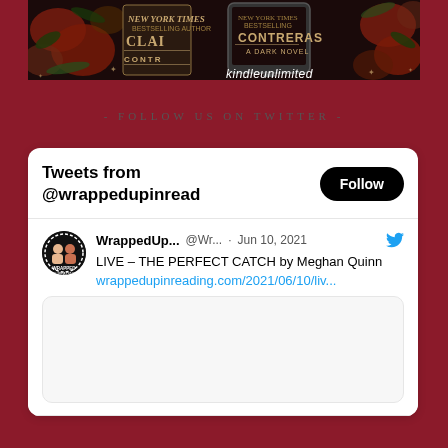[Figure (photo): Book cover promotional image for 'Claire Contreras' featuring floral background with dark theme, two book/device mockups, and 'kindleunlimited' text]
- FOLLOW US ON TWITTER -
[Figure (screenshot): Twitter widget showing 'Tweets from @wrappedupinread' with a Follow button, and a tweet from WrappedUp... (@Wr...) dated Jun 10, 2021 reading 'LIVE – THE PERFECT CATCH by Meghan Quinn wrappedupinreading.com/2021/06/10/liv...' with a nested image card placeholder]